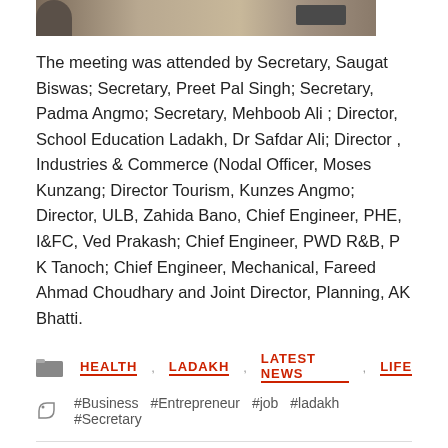[Figure (photo): Partial photo strip at top showing a person and wooden background]
The meeting was attended by Secretary, Saugat Biswas; Secretary, Preet Pal Singh; Secretary, Padma Angmo; Secretary, Mehboob Ali ; Director, School Education Ladakh, Dr Safdar Ali; Director , Industries & Commerce (Nodal Officer, Moses Kunzang; Director Tourism, Kunzes Angmo; Director, ULB, Zahida Bano, Chief Engineer, PHE, I&FC, Ved Prakash; Chief Engineer, PWD R&B, P K Tanoch; Chief Engineer, Mechanical, Fareed Ahmad Choudhary and Joint Director, Planning, AK Bhatti.
HEALTH LADAKH LATEST NEWS LIFE
#Business #Entrepreneur #job #ladakh #Secretary